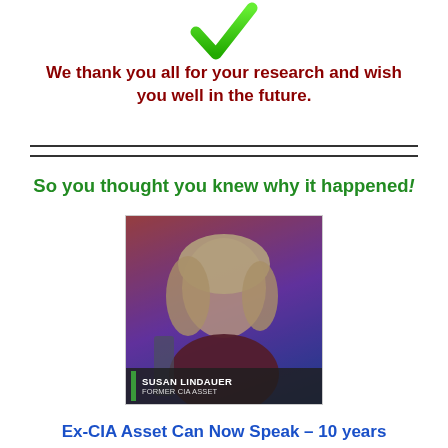[Figure (illustration): Large green checkmark symbol]
We thank you all for your research and wish you well in the future.
[Figure (photo): Photo of Susan Lindauer, Former CIA Asset, a woman with blonde hair seated in a TV studio setting with a chyron reading 'SUSAN LINDAUER FORMER CIA ASSET']
So you thought you knew why it happened!
Ex-CIA Asset Can Now Speak – 10 years